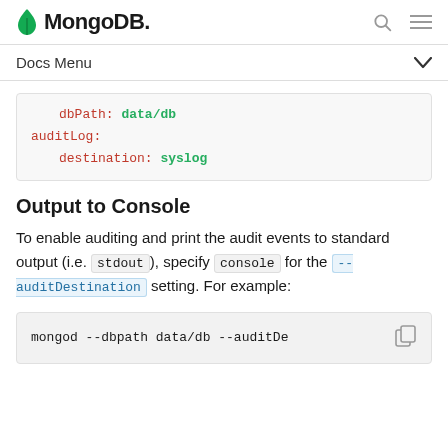MongoDB
Docs Menu
dbPath: data/db
auditLog:
    destination: syslog
Output to Console
To enable auditing and print the audit events to standard output (i.e. stdout), specify console for the --auditDestination setting. For example:
mongod --dbpath data/db --auditDe